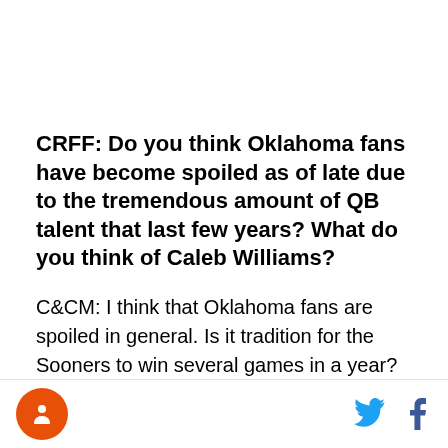CRFF: Do you think Oklahoma fans have become spoiled as of late due to the tremendous amount of QB talent that last few years? What do you think of Caleb Williams?
C&CM: I think that Oklahoma fans are spoiled in general. Is it tradition for the Sooners to win several games in a year? Yes. Do Sooner fans need to be realistic with this team at all times as well? Also yes.
[Figure (logo): Circular orange logo with figure icon in the footer]